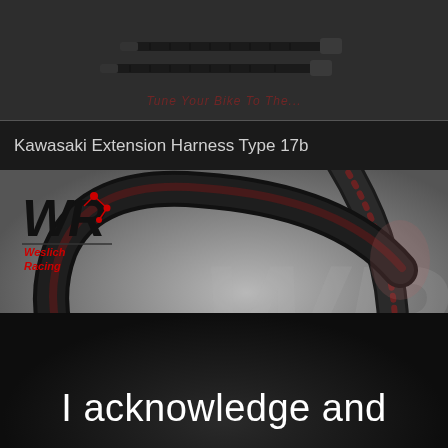[Figure (photo): Cable ties / zip ties on a dark background with a faint red watermark text 'Tune Your Bike To The...']
Kawasaki Extension Harness Type 17b
[Figure (photo): Weslich Racing branded product photo showing a curved wiring harness/extension cable in black, with the WR Weslich Racing logo in the top left corner. Dark circular cable looping across a grey background.]
I acknowledge and